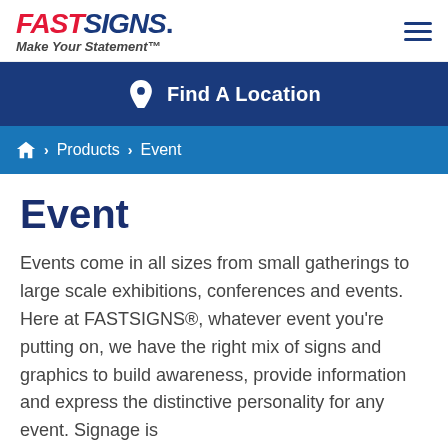FASTSIGNS. Make Your Statement™
Find A Location
⌂ > Products > Event
Event
Events come in all sizes from small gatherings to large scale exhibitions, conferences and events. Here at FASTSIGNS®, whatever event you're putting on, we have the right mix of signs and graphics to build awareness, provide information and express the distinctive personality for any event. Signage is